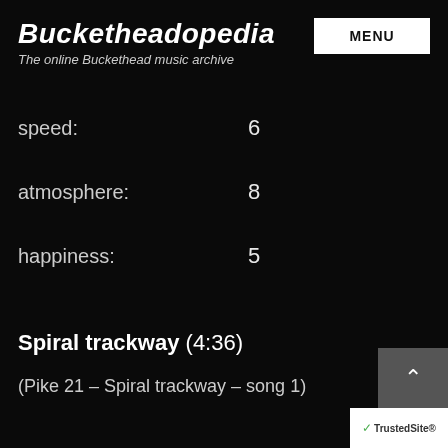Bucketheadopedia
The online Buckethead music archive
speed:  6
atmosphere:  8
happiness:  5
Spiral trackway (4:36)
(Pike 21 – Spiral trackway – song 1)